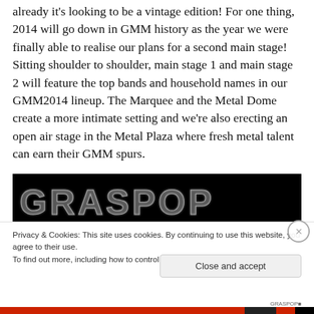already it's looking to be a vintage edition! For one thing, 2014 will go down in GMM history as the year we were finally able to realise our plans for a second main stage! Sitting shoulder to shoulder, main stage 1 and main stage 2 will feature the top bands and household names in our GMM2014 lineup. The Marquee and the Metal Dome create a more intimate setting and we're also erecting an open air stage in the Metal Plaza where fresh metal talent can earn their GMM spurs.
[Figure (photo): Black image with large stylized grunge/metal text letters visible at the top portion]
Privacy & Cookies: This site uses cookies. By continuing to use this website, you agree to their use.
To find out more, including how to control cookies, see here: Cookie Policy
Close and accept